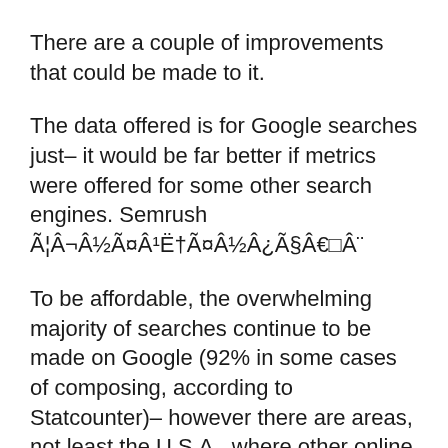There are a couple of improvements that could be made to it.
The data offered is for Google searches just– it would be far better if metrics were offered for some other search engines. Semrush Ã¦Â¬Â½ÃxÂ¹Ë†ÃxÂ½Â¿Ã§Â€□Â¨
To be affordable, the overwhelming majority of searches continue to be made on Google (92% in some cases of composing, according to Statcounter)– however there are areas, not least the U.S.A., where other online search engine enjoy more use (in the United States, for instance, 7.2% of searches are currently made on Bing). Finishing products such as Moz and Ahrefs provide you access